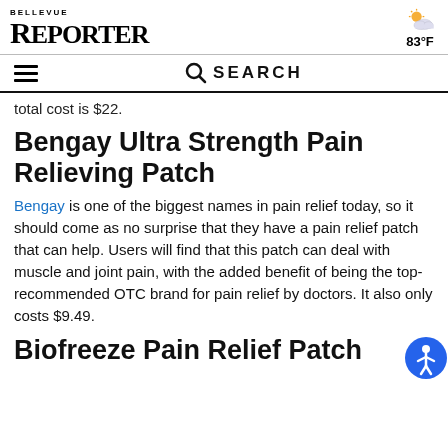BELLEVUE REPORTER — 83°F
total cost is $22.
Bengay Ultra Strength Pain Relieving Patch
Bengay is one of the biggest names in pain relief today, so it should come as no surprise that they have a pain relief patch that can help. Users will find that this patch can deal with muscle and joint pain, with the added benefit of being the top-recommended OTC brand for pain relief by doctors. It also only costs $9.49.
Biofreeze Pain Relief Patch